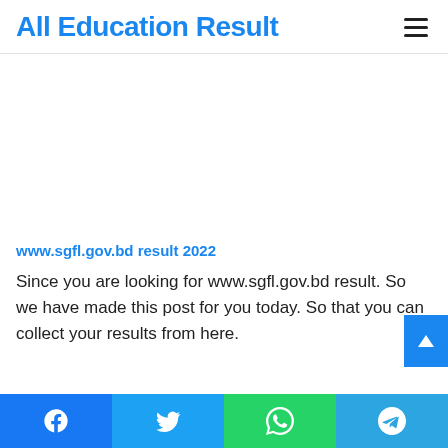All Education Result
[Figure (other): Advertisement/blank white area]
www.sgfl.gov.bd result 2022
Since you are looking for www.sgfl.gov.bd result. So we have made this post for you today. So that you can collect your results from here.
Facebook | Twitter | WhatsApp | Telegram